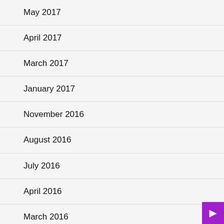May 2017
April 2017
March 2017
January 2017
November 2016
August 2016
July 2016
April 2016
March 2016
November 2015